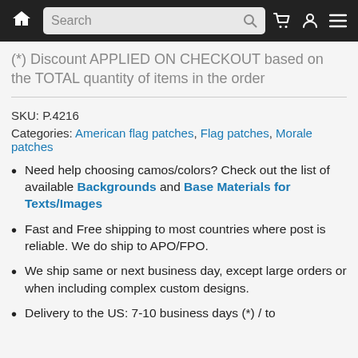Search
(*) Discount APPLIED ON CHECKOUT based on the TOTAL quantity of items in the order
SKU: P.4216
Categories: American flag patches, Flag patches, Morale patches
Need help choosing camos/colors? Check out the list of available Backgrounds and Base Materials for Texts/Images
Fast and Free shipping to most countries where post is reliable. We do ship to APO/FPO.
We ship same or next business day, except large orders or when including complex custom designs.
Delivery to the US: 7-10 business days (*) / to